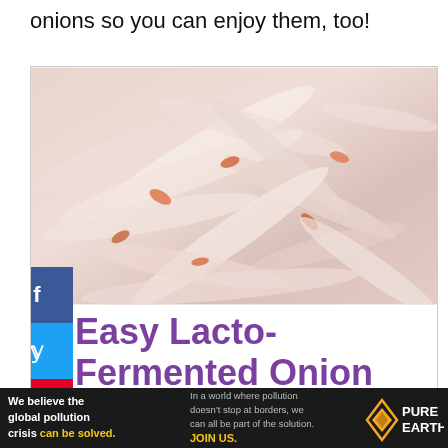onions so you can enjoy them, too!
[Figure (photo): Close-up photo of lacto-fermented sliced onions, pale white and pinkish-orange strands mixed together]
Easy Lacto-Fermented Onion Recipe
nourishingtime.com
Fermenting onions is easy, quick, and makes the most perfect, thinly sliced condiment for
[Figure (infographic): Pure Earth advertisement banner: 'We believe the global pollution crisis can be solved.' with Pure Earth logo]